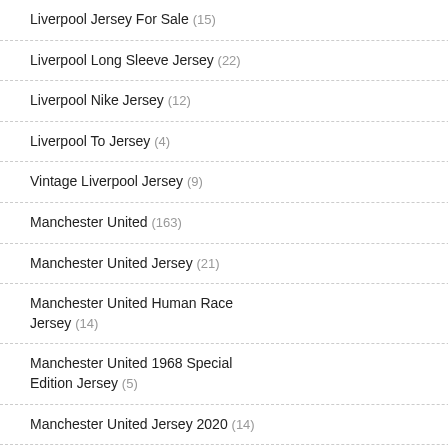Liverpool Jersey For Sale (15)
Liverpool Long Sleeve Jersey (22)
Liverpool Nike Jersey (12)
Liverpool To Jersey (4)
Vintage Liverpool Jersey (9)
Manchester United (163)
Manchester United Jersey (21)
Manchester United Human Race Jersey (14)
Manchester United 1968 Special Edition Jersey (5)
Manchester United Jersey 2020 (14)
Manchester United Pink Jersey (15)
Vintage Manchester United Jersey (9)
Manchester United Cny Jersey (8)
Manchester United Long Sleeve Jersey (12)
barcelona black jersey
£31.00  £20.00  Save: 35% off
[Figure (photo): Two black Barcelona jerseys with gold number 10 and MESSI name, Rakuten and Unicef sponsors]
barcelona black jersey
£37.00  £25.00  Save: 32% off